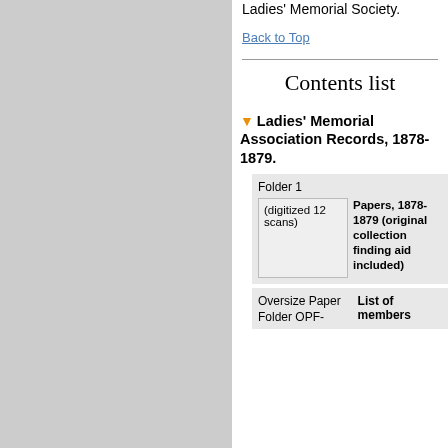Ladies' Memorial Society.
Back to Top
Contents list
Ladies' Memorial Association Records, 1878-1879.
| Folder | Description |
| --- | --- |
| Folder 1
(digitized 12 scans) | Papers, 1878-1879 (original collection finding aid included) |
| Oversize Paper Folder OPF- | List of members |